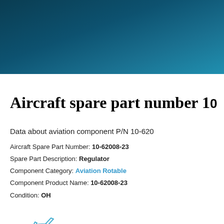[Figure (illustration): Dark teal/blue gradient header background banner]
Aircraft spare part number 10-62008-23
Data about aviation component P/N 10-62008-23
Aircraft Spare Part Number: 10-62008-23
Spare Part Description: Regulator
Component Category: Aviation Rotable
Component Product Name: 10-62008-23
Condition: OH
[Figure (illustration): Airplane icon (blue outline) with dashed horizontal line extending to the right]
Submit enquiry for aviation spare p